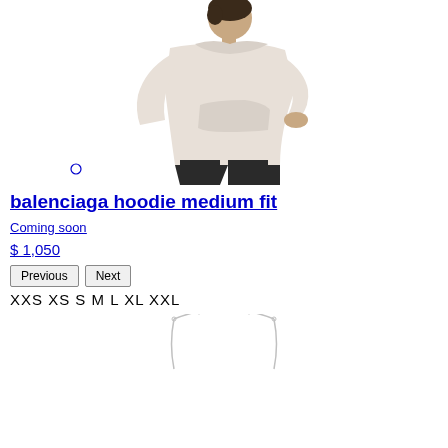[Figure (photo): Person wearing a light cream/off-white Balenciaga hoodie with black wide-leg trousers, side profile view]
balenciaga hoodie medium fit
Coming soon
$ 1,050
Previous  Next  XXS XS S M L XL XXL
[Figure (photo): Partial view of a necklace or chain product at bottom of page]